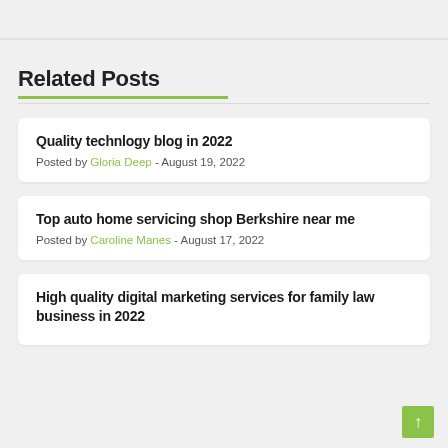Related Posts
Quality technlogy blog in 2022
Posted by Gloria Deep - August 19, 2022
Top auto home servicing shop Berkshire near me
Posted by Caroline Manes - August 17, 2022
High quality digital marketing services for family law business in 2022